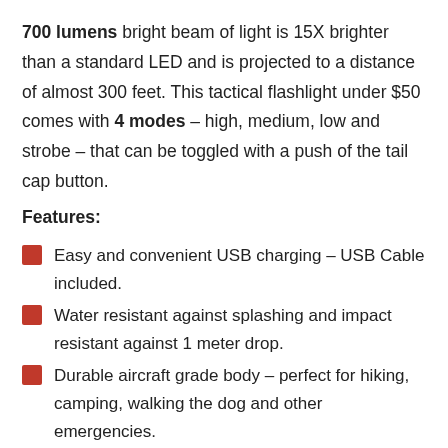700 lumens bright beam of light is 15X brighter than a standard LED and is projected to a distance of almost 300 feet. This tactical flashlight under $50 comes with 4 modes – high, medium, low and strobe – that can be toggled with a push of the tail cap button.
Features:
Easy and convenient USB charging – USB Cable included.
Water resistant against splashing and impact resistant against 1 meter drop.
Durable aircraft grade body – perfect for hiking, camping, walking the dog and other emergencies.